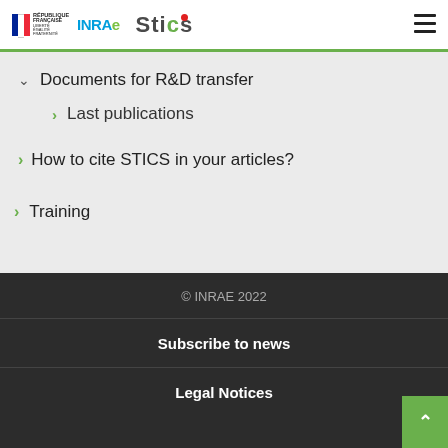République Française | INRAE | STICS
Documents for R&D transfer
Last publications
How to cite STICS in your articles?
Training
© INRAE 2022
Subscribe to news
Legal Notices